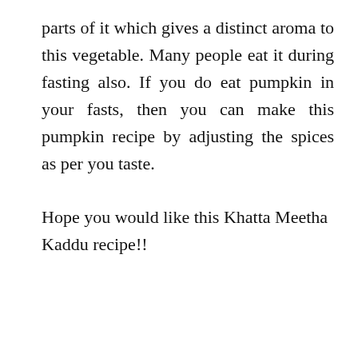parts of it which gives a distinct aroma to this vegetable. Many people eat it during fasting also. If you do eat pumpkin in your fasts, then you can make this pumpkin recipe by adjusting the spices as per you taste.
Hope you would like this Khatta Meetha Kaddu recipe!!